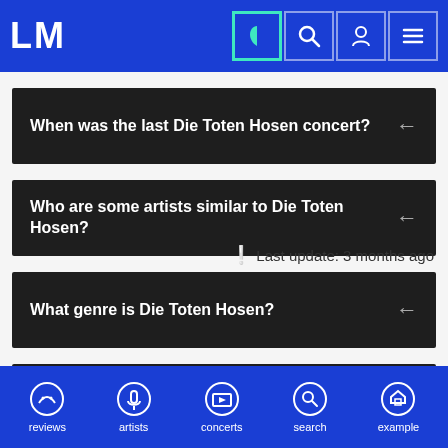LM
When was the last Die Toten Hosen concert?
Who are some artists similar to Die Toten Hosen?
What genre is Die Toten Hosen?
Does Die Toten Hosen have any social media?
! Last update: 3 months ago
reviews   artists   concerts   search   example